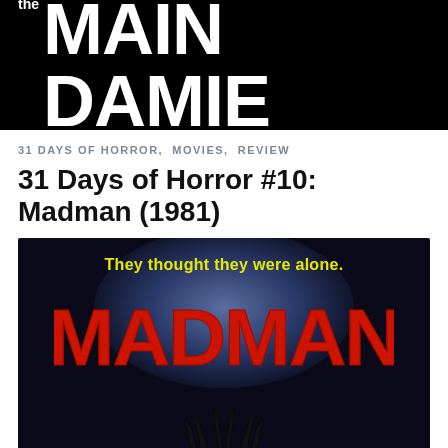the MAIN DAMIE
31 DAYS OF HORROR, MOVIES, REVIEW
31 Days of Horror #10: Madman (1981)
[Figure (photo): Movie poster for Madman (1981) showing the title MADMAN in large red jagged letters on a dark background with the tagline 'They thought they were alone.' in yellow text and a shadowy figure at the bottom.]